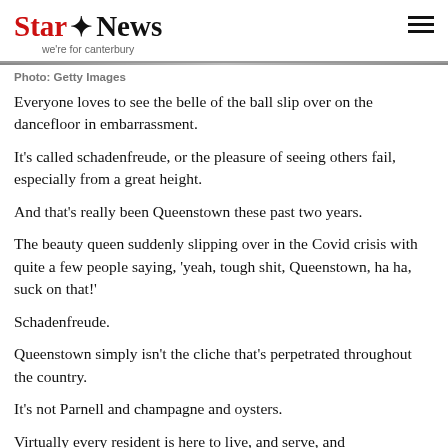Star News — we're for canterbury
Photo: Getty Images
Everyone loves to see the belle of the ball slip over on the dancefloor in embarrassment.
It's called schadenfreude, or the pleasure of seeing others fail, especially from a great height.
And that's really been Queenstown these past two years.
The beauty queen suddenly slipping over in the Covid crisis with quite a few people saying, 'yeah, tough shit, Queenstown, ha ha, suck on that!'
Schadenfreude.
Queenstown simply isn't the cliche that's perpetrated throughout the country.
It's not Parnell and champagne and oysters.
Virtually every resident is here to live, and serve, and